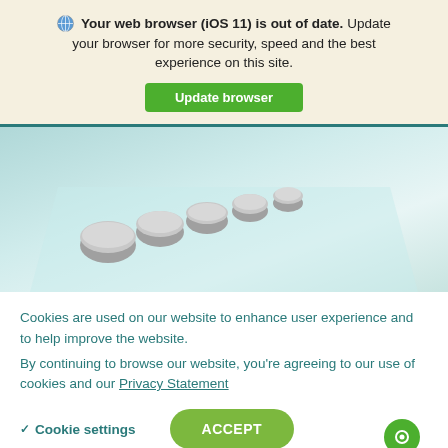Your web browser (iOS 11) is out of date. Update your browser for more security, speed and the best experience on this site.
Update browser
[Figure (photo): A row of small gray dome-shaped tablets or pills arranged diagonally on a light blue/teal surface, viewed from above at an angle.]
Cookies are used on our website to enhance user experience and to help improve the website.
By continuing to browse our website, you're agreeing to our use of cookies and our Privacy Statement
Cookie settings
ACCEPT